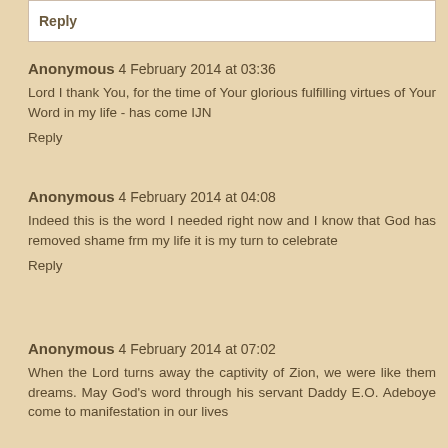Reply
Anonymous 4 February 2014 at 03:36
Lord I thank You, for the time of Your glorious fulfilling virtues of Your Word in my life - has come IJN
Reply
Anonymous 4 February 2014 at 04:08
Indeed this is the word I needed right now and I know that God has removed shame frm my life it is my turn to celebrate
Reply
Anonymous 4 February 2014 at 07:02
When the Lord turns away the captivity of Zion, we were like them dreams. May God's word through his servant Daddy E.O. Adeboye come to manifestation in our lives